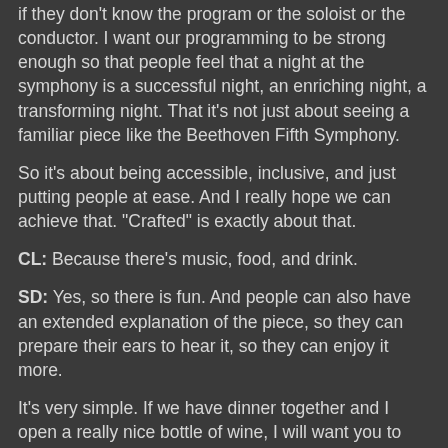if they don't know the program or the soloist or the conductor. I want our programming to be strong enough so that people feel that a night at the symphony is a successful night, an enriching night, a transforming night. That it's not just about seeing a familiar piece like the Beethoven Fifth Symphony.
So it's about being accessible, inclusive, and just putting people at ease. And I really hope we can achieve that. "Crafted" is exactly about that.
CL: Because there's music, food, and drink.
SD: Yes, so there is fun. And people can also have an extended explanation of the piece, so they can prepare their ears to hear it, so they can enjoy it more.
It's very simple. If we have dinner together and I open a really nice bottle of wine, I will want you to have at least as much pleasure as I have from this bottle, if not more. So before I even poured, I'd say, "this wine comes from there, and it has this kind of taste, and I discovered it this way." So you would have a narrative about it, and the way you tasted